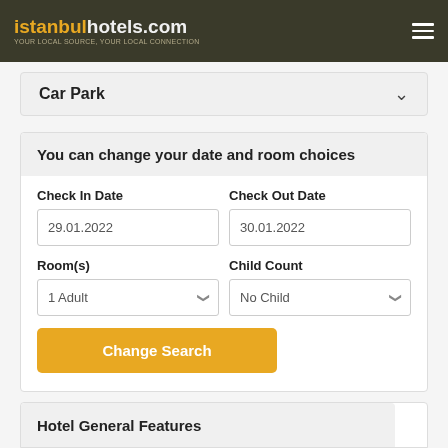istanbulhotels.com — YOUR LOCAL SOURCE, YOUR LOCAL CONNECTION
Car Park
You can change your date and room choices
Check In Date: 29.01.2022
Check Out Date: 30.01.2022
Room(s): 1 Adult
Child Count: No Child
Change Search
Hotel General Features